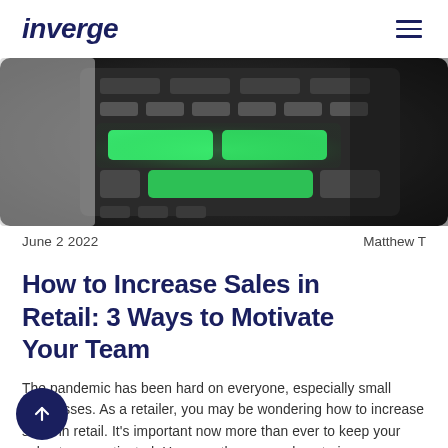inverge
[Figure (photo): Close-up photo of a dark cash register or POS device with illuminated green keys/buttons on a dark background]
June 2 2022    Matthew T
How to Increase Sales in Retail: 3 Ways to Motivate Your Team
The pandemic has been hard on everyone, especially small businesses. As a retailer, you may be wondering how to increase sales in retail. It's important now more than ever to keep your sales team motivated. Here are three ways how to increase sales in retail during the pandemic and beyond. Read on to learn how to motivate your[...]